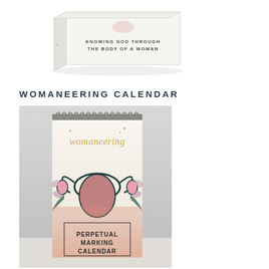[Figure (photo): A white box/book product with text 'KNOWING GOD THROUGH THE BODY OF A WOMAN' shown at an angle on a white background.]
WOMANEERING CALENDAR
[Figure (photo): A perpetual marking calendar called 'womaneering' with a spiral binding at the top, featuring decorative artwork of a uterus with floral elements in pink and teal tones. The calendar shows text 'PERPETUAL MARKING CALENDAR' at the bottom.]